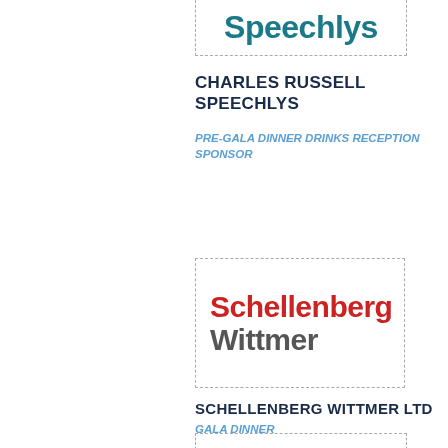[Figure (logo): Speechlys logo — teal/dark teal bold text inside dashed border box, partially visible at top of page]
CHARLES RUSSELL SPEECHLYS
PRE-GALA DINNER DRINKS RECEPTION SPONSOR
[Figure (logo): Schellenberg Wittmer logo — 'Schellenberg' in red bold text and 'Wittmer' in dark grey bold text inside a dashed border box]
SCHELLENBERG WITTMER LTD
GALA DINNER